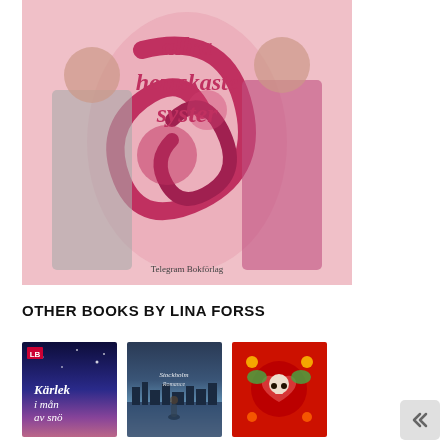[Figure (photo): Book cover of 'Allra hemskaste syster' published by Telegram Bokförlag, showing a pink decorative cover with two women holding teacups and ornate swirl designs]
OTHER BOOKS BY LINA FORSS
[Figure (photo): Book cover thumbnail: 'Kärlek i mån av snö' with dark blue/purple starry night background]
[Figure (photo): Book cover thumbnail: Stockholm Romance, showing a waterfront city view at dusk]
[Figure (photo): Book cover thumbnail: Colorful red cover with folk art style decorative illustration]